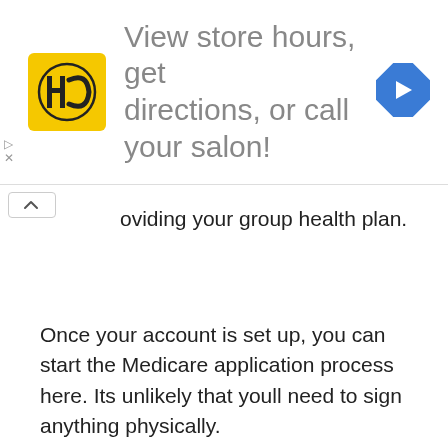[Figure (screenshot): Advertisement banner for a hair salon chain showing a yellow HC logo, text 'View store hours, get directions, or call your salon!' and a blue diamond navigation arrow icon on the right.]
oviding your group health plan.
Once your account is set up, you can start the Medicare application process here. Its unlikely that youll need to sign anything physically.